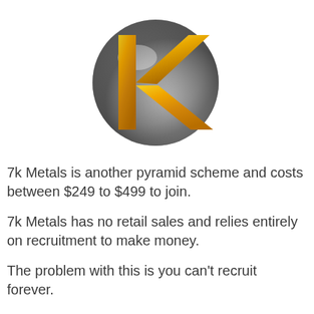[Figure (logo): 7k Metals logo: a silver metallic sphere with a golden stylized 'k' letter mark overlaid on it]
7k Metals is another pyramid scheme and costs between $249 to $499 to join.
7k Metals has no retail sales and relies entirely on recruitment to make money.
The problem with this is you can't recruit forever.
Without retail sales the scheme is guaranteed to